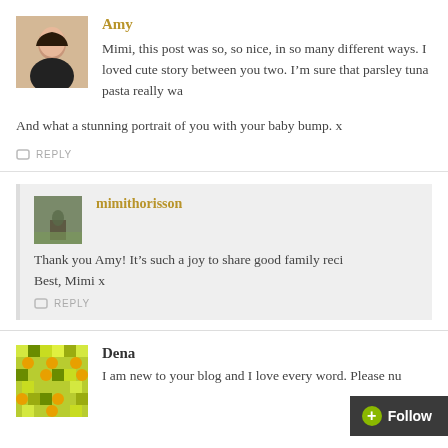Amy
Mimi, this post was so, so nice, in so many different ways. I loved cute story between you two. I'm sure that parsley tuna pasta really wa
And what a stunning portrait of you with your baby bump. x
REPLY
[Figure (photo): Avatar photo of mimithorisson showing a landscape/outdoor scene]
mimithorisson
Thank you Amy! It's such a joy to share good family reci Best, Mimi x
REPLY
Dena
[Figure (illustration): Green and yellow decorative avatar pattern for Dena]
I am new to your blog and I love every word. Please nu